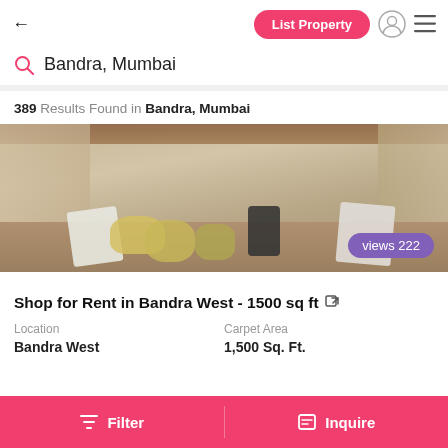← List Property
Bandra, Mumbai
389 Results Found in Bandra, Mumbai
[Figure (photo): Interior photo of an empty/cluttered shop space with bags, boards and items on the floor. A purple badge reads 'views 222'.]
Shop for Rent in Bandra West - 1500 sq ft
| Location | Carpet Area |
| --- | --- |
| Bandra West | 1,500 Sq. Ft. |
Filter   Inquire